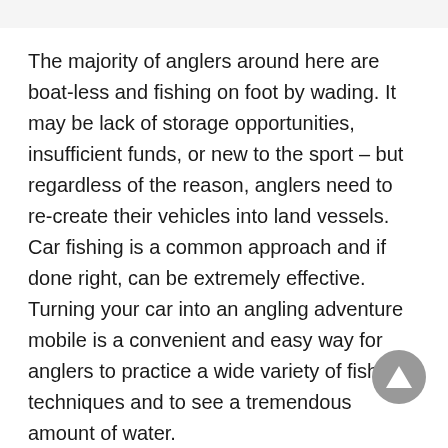The majority of anglers around here are boat-less and fishing on foot by wading. It may be lack of storage opportunities, insufficient funds, or new to the sport – but regardless of the reason, anglers need to re-create their vehicles into land vessels. Car fishing is a common approach and if done right, can be extremely effective. Turning your car into an angling adventure mobile is a convenient and easy way for anglers to practice a wide variety of fishing techniques and to see a tremendous amount of water.
The list of benefits of fishing by car is diverse and